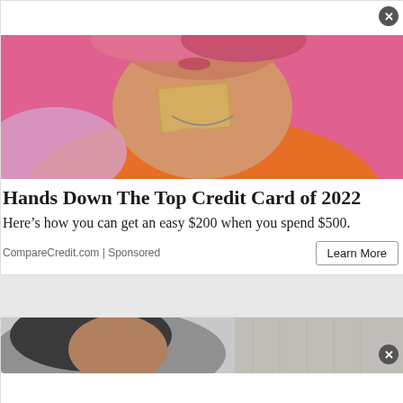[Figure (photo): Woman with pink hair holding a credit card against a pink background, wearing an orange top]
Hands Down The Top Credit Card of 2022
Here's how you can get an easy $200 when you spend $500.
CompareCredit.com | Sponsored
[Figure (photo): Person with dark hair in foreground, gray fabric background, partial advertisement image]